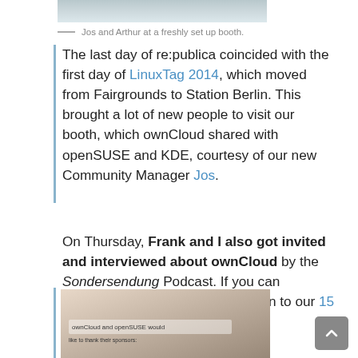[Figure (photo): Top portion of a photo showing a conference booth, cropped at top of page.]
Jos and Arthur at a freshly set up booth.
The last day of re:publica coincided with the first day of LinuxTag 2014, which moved from Fairgrounds to Station Berlin. This brought a lot of new people to visit our booth, which ownCloud shared with openSUSE and KDE, courtesy of our new Community Manager Jos.
On Thursday, Frank and I also got invited and interviewed about ownCloud by the Sondersendung Podcast. If you can understand German, you can listen to our 15 minute interview .
[Figure (photo): Photo of a conference booth area with a banner visible.]